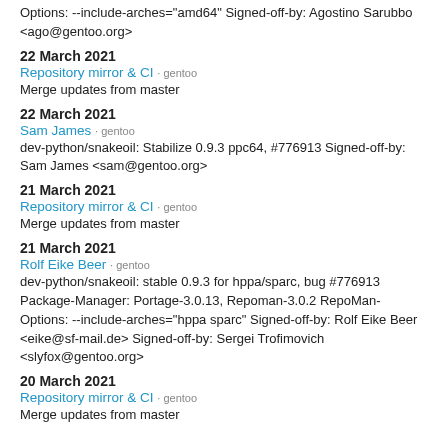Options: --include-arches="amd64" Signed-off-by: Agostino Sarubbo <ago@gentoo.org>
22 March 2021
Repository mirror & CI · gentoo
Merge updates from master
22 March 2021
Sam James · gentoo
dev-python/snakeoil: Stabilize 0.9.3 ppc64, #776913 Signed-off-by: Sam James <sam@gentoo.org>
21 March 2021
Repository mirror & CI · gentoo
Merge updates from master
21 March 2021
Rolf Eike Beer · gentoo
dev-python/snakeoil: stable 0.9.3 for hppa/sparc, bug #776913 Package-Manager: Portage-3.0.13, Repoman-3.0.2 RepoMan-Options: --include-arches="hppa sparc" Signed-off-by: Rolf Eike Beer <eike@sf-mail.de> Signed-off-by: Sergei Trofimovich <slyfox@gentoo.org>
20 March 2021
Repository mirror & CI · gentoo
Merge updates from master